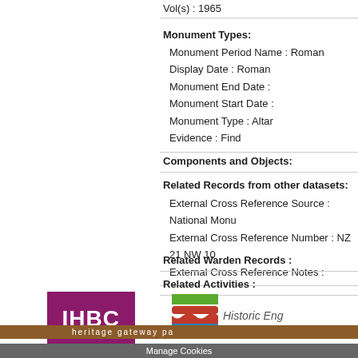Vol(s) : 1965
Monument Types:
Monument Period Name : Roman
Display Date : Roman
Monument End Date :
Monument Start Date :
Monument Type : Altar
Evidence : Find
Components and Objects:
Related Records from other datasets:
External Cross Reference Source : National Monu
External Cross Reference Number : NZ 21 NW 10
External Cross Reference Notes :
Related Warden Records :
Related Activities :
[Figure (logo): IHBC - Institute of Historic Building Conservation logo]
[Figure (logo): Historic England logo]
heritage gateway pa
Manage Cookies